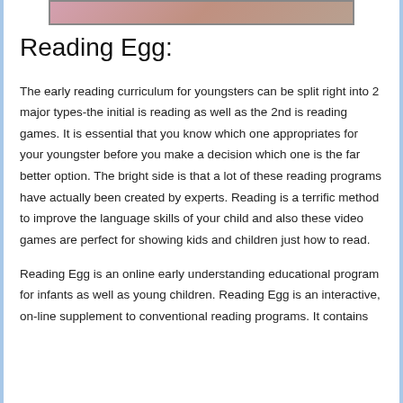[Figure (photo): Partial image of a child at the top of the page]
Reading Egg:
The early reading curriculum for youngsters can be split right into 2 major types-the initial is reading as well as the 2nd is reading games. It is essential that you know which one appropriates for your youngster before you make a decision which one is the far better option. The bright side is that a lot of these reading programs have actually been created by experts. Reading is a terrific method to improve the language skills of your child and also these video games are perfect for showing kids and children just how to read.
Reading Egg is an online early understanding educational program for infants as well as young children. Reading Egg is an interactive, on-line supplement to conventional reading programs. It contains